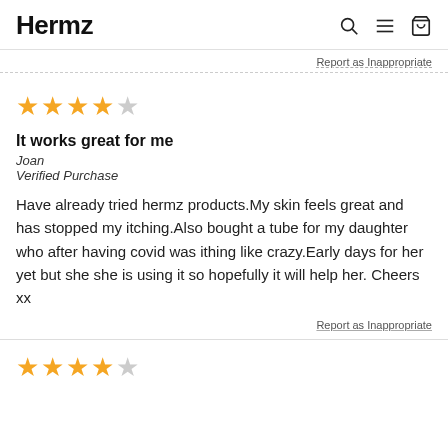Hermz
Report as Inappropriate
★★★★☆
It works great for me
Joan
Verified Purchase
Have already tried hermz products.My skin feels great and has stopped my itching.Also bought a tube for my daughter who after having covid was ithing like crazy.Early days for her yet but she she is using it so hopefully it will help her. Cheers xx
Report as Inappropriate
★★★★☆